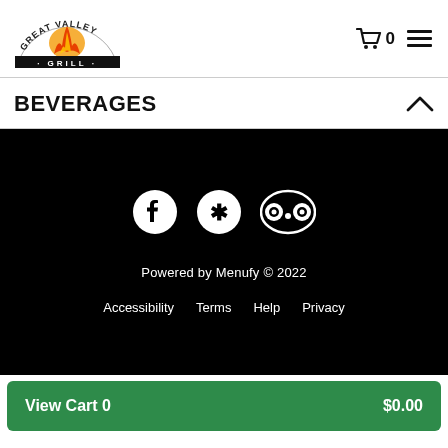Great Valley Grill — header with logo, cart (0), and hamburger menu
BEVERAGES
[Figure (screenshot): Black footer with social media icons (Facebook, Yelp, Tripadvisor), 'Powered by Menufy © 2022', and links: Accessibility, Terms, Help, Privacy]
View Cart 0   $0.00